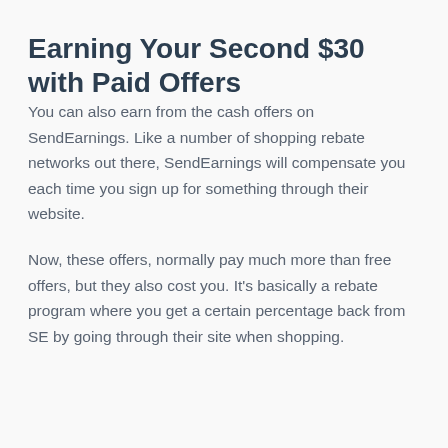Earning Your Second $30 with Paid Offers
You can also earn from the cash offers on SendEarnings. Like a number of shopping rebate networks out there, SendEarnings will compensate you each time you sign up for something through their website.
Now, these offers, normally pay much more than free offers, but they also cost you. It's basically a rebate program where you get a certain percentage back from SE by going through their site when shopping.